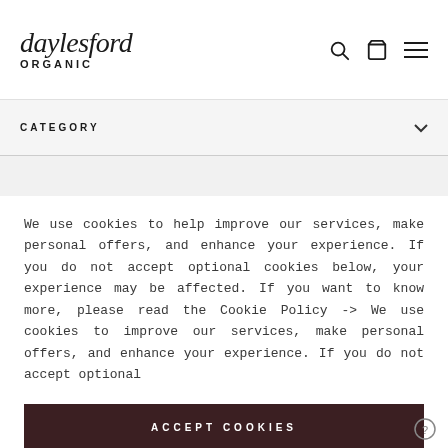daylesford ORGANIC
CATEGORY
We use cookies to help improve our services, make personal offers, and enhance your experience. If you do not accept optional cookies below, your experience may be affected. If you want to know more, please read the Cookie Policy -> We use cookies to improve our services, make personal offers, and enhance your experience. If you do not accept optional
ACCEPT COOKIES
CUSTOM SETTINGS